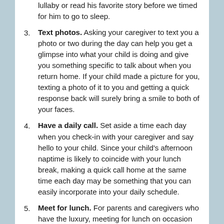lullaby or read his favorite story before we timed for him to go to sleep.
Text photos. Asking your caregiver to text you a photo or two during the day can help you get a glimpse into what your child is doing and give you something specific to talk about when you return home. If your child made a picture for you, texting a photo of it to you and getting a quick response back will surely bring a smile to both of your faces.
Have a daily call. Set aside a time each day when you check-in with your caregiver and say hello to your child. Since your child's afternoon naptime is likely to coincide with your lunch break, making a quick call home at the same time each day may be something that you can easily incorporate into your daily schedule.
Meet for lunch. For parents and caregivers who have the luxury, meeting for lunch on occasion can be a super way to stay connected. A small café or even an onsite restaurant at the office can be a great way to have short, but wonderfully meaningful connection.  An added bonus? You get to show your